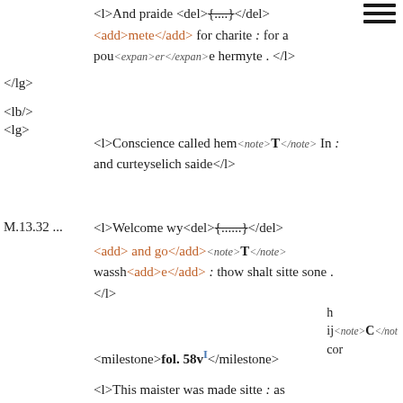<l>And praide <del>{....}</del>
<add>mete</add> for charite : for a pou<expan>er</expan>e hermyte . </l>
</lg>
<lb/>
<lg>
<l>Conscience called hem<note>T</note> In : and curteyselich saide</l>
M.13.32 ...
<l>Welcome wy<del>{......}</del>
<add> and go</add><note>T</note> wassh<add>e</add> : thow shalt sitte sone . </l>
h
ij<note>C</note>
cor
<milestone>fol. 58v</milestone>
<l>This maister was made sitte : as